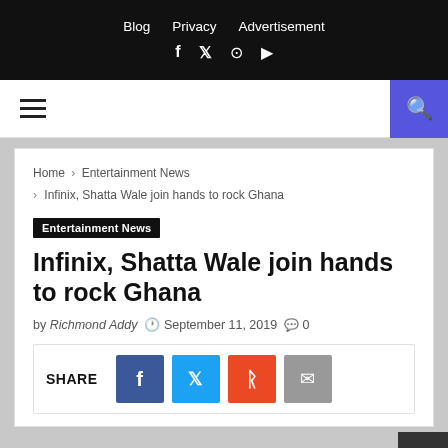Blog  Privacy  Advertisement
Breadcrumb: Home > Entertainment News > Infinix, Shatta Wale join hands to rock Ghana
Entertainment News
Infinix, Shatta Wale join hands to rock Ghana
by Richmond Addy  September 11, 2019  0
SHARE